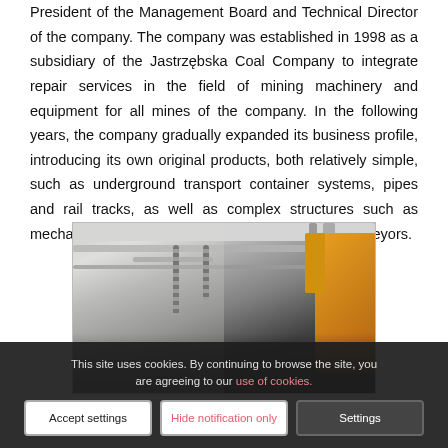President of the Management Board and Technical Director of the company. The company was established in 1998 as a subsidiary of the Jastrzębska Coal Company to integrate repair services in the field of mining machinery and equipment for all mines of the company. In the following years, the company gradually expanded its business profile, introducing its own original products, both relatively simple, such as underground transport container systems, pipes and rail tracks, as well as complex structures such as mechanized hydraulic supports, scrapers or belt conveyors.
[Figure (photo): Industrial interior showing ceiling with pipes, chains hanging down, and yellow mechanical arm or crane structure on the right side. Dark industrial setting.]
This site uses cookies. By continuing to browse the site, you are agreeing to our use of cookies.
Accept settings | Hide notification only | Settings